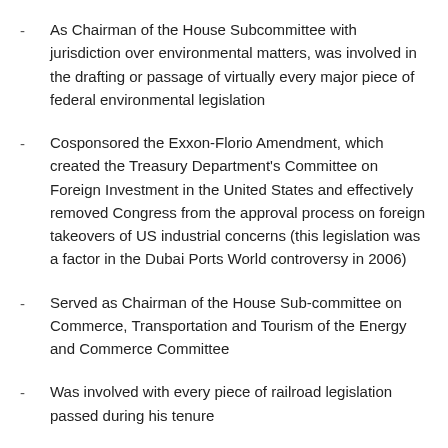As Chairman of the House Subcommittee with jurisdiction over environmental matters, was involved in the drafting or passage of virtually every major piece of federal environmental legislation
Cosponsored the Exxon-Florio Amendment, which created the Treasury Department's Committee on Foreign Investment in the United States and effectively removed Congress from the approval process on foreign takeovers of US industrial concerns (this legislation was a factor in the Dubai Ports World controversy in 2006)
Served as Chairman of the House Sub-committee on Commerce, Transportation and Tourism of the Energy and Commerce Committee
Was involved with every piece of railroad legislation passed during his tenure
Was the prime sponsor of The Staggers Act (railroad deregulation)